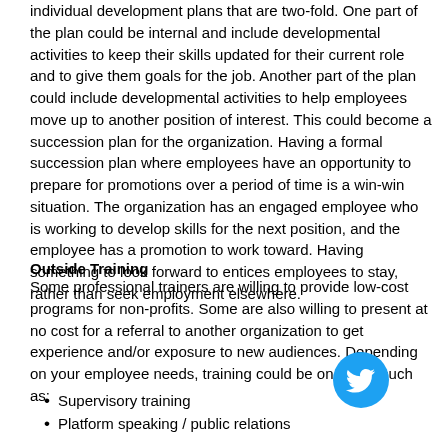individual development plans that are two-fold. One part of the plan could be internal and include developmental activities to keep their skills updated for their current role and to give them goals for the job. Another part of the plan could include developmental activities to help employees move up to another position of interest. This could become a succession plan for the organization. Having a formal succession plan where employees have an opportunity to prepare for promotions over a period of time is a win-win situation. The organization has an engaged employee who is working to develop skills for the next position, and the employee has a promotion to work toward. Having something to look forward to entices employees to stay, rather than seek employment elsewhere.
Outside Training
Some professional trainers are willing to provide low-cost programs for non-profits. Some are also willing to present at no cost for a referral to another organization to get experience and/or exposure to new audiences. Depending on your employee needs, training could be on topics such as:
[Figure (logo): Twitter bird logo icon in blue circle]
Supervisory training
Platform speaking / public relations